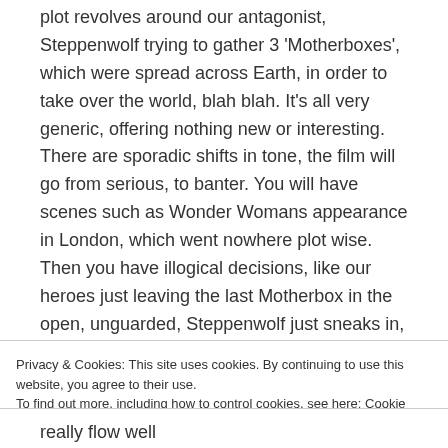plot revolves around our antagonist, Steppenwolf trying to gather 3 'Motherboxes', which were spread across Earth, in order to take over the world, blah blah. It's all very generic, offering nothing new or interesting. There are sporadic shifts in tone, the film will go from serious, to banter. You will have scenes such as Wonder Womans appearance in London, which went nowhere plot wise. Then you have illogical decisions, like our heroes just leaving the last Motherbox in the open, unguarded, Steppenwolf just sneaks in, and runs away with it! It's all very abrupt. There's also an aimless plot regarding a Russian family, which has next to no
Privacy & Cookies: This site uses cookies. By continuing to use this website, you agree to their use.
To find out more, including how to control cookies, see here: Cookie Policy
Close and accept
really flow well